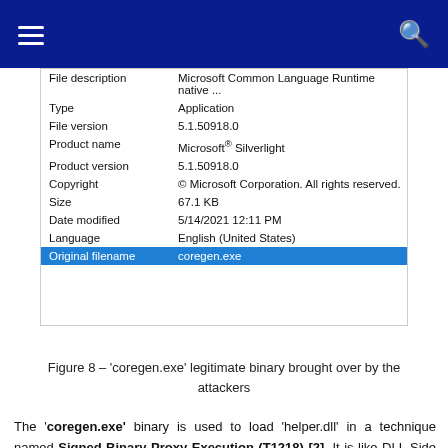[Figure (screenshot): Screenshot of a Windows file properties dialog showing metadata for coregen.exe: File description: Microsoft Common Language Runtime native ..., Type: Application, File version: 5.1.50918.0, Product name: Microsoft® Silverlight, Product version: 5.1.50918.0, Copyright: © Microsoft Corporation. All rights reserved., Size: 67.1 KB, Date modified: 5/14/2021 12:11 PM, Language: English (United States), Original filename: coregen.exe (highlighted in blue)]
Figure 8 – 'coregen.exe' legitimate binary brought over by the attackers
The 'coregen.exe' binary is used to load 'helper.dll' in a technique named Signed Binary Proxy Execution (T1218) [2]. It is like DLL Side Loading attack, but here the DLL name is passed as argument, as seen in